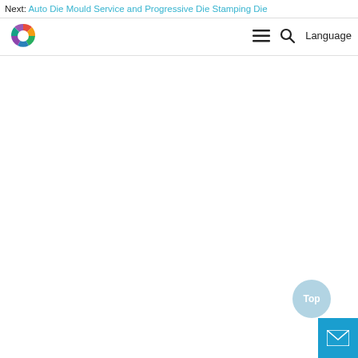Next: Auto Die Mould Service and Progressive Die Stamping Die
[Figure (logo): Colorful G-shaped logo with overlapping colored segments (yellow, green, blue, purple, red) on white background]
Language